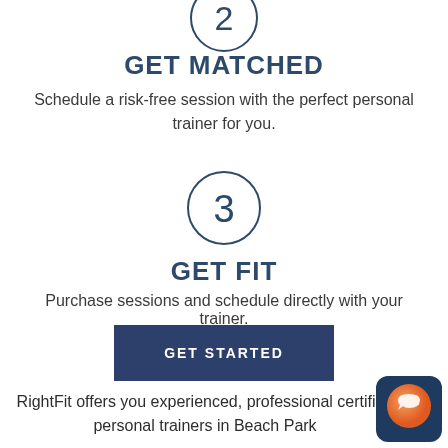[Figure (infographic): Step 2 circle icon with number 2 inside, partially visible at top]
GET MATCHED
Schedule a risk-free session with the perfect personal trainer for you.
[Figure (infographic): Step 3 circle icon with number 3 inside]
GET FIT
Purchase sessions and schedule directly with your trainer.
GET STARTED
RightFit offers you experienced, professional certified personal trainers in Beach Park...